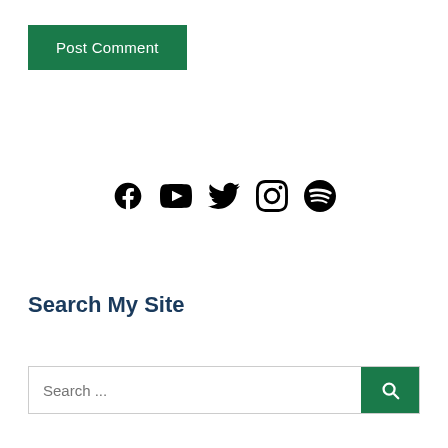Post Comment
[Figure (other): Social media icons: Facebook, YouTube, Twitter, Instagram, Spotify]
Search My Site
Search ...